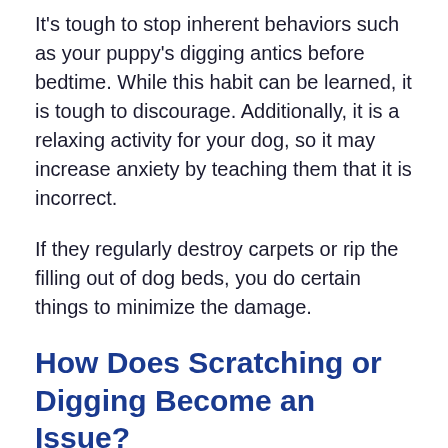It's tough to stop inherent behaviors such as your puppy's digging antics before bedtime. While this habit can be learned, it is tough to discourage. Additionally, it is a relaxing activity for your dog, so it may increase anxiety by teaching them that it is incorrect.
If they regularly destroy carpets or rip the filling out of dog beds, you do certain things to minimize the damage.
How Does Scratching or Digging Become an Issue?
Making a safe and comfortable shelter was necessary for living in the wild. Getting rid of